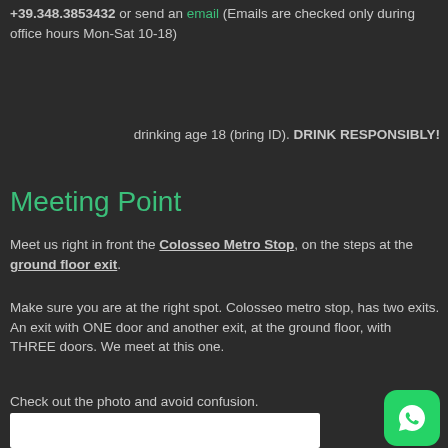+39.348.3853432 or send an email (Emails are checked only during office hours Mon-Sat 10-18)
drinking age 18 (bring ID). DRINK RESPONSIBLY!
Meeting Point
Meet us right in front the Colosseo Metro Stop, on the steps at the ground floor exit.
Make sure you are at the right spot. Colosseo metro stop, has two exits.
An exit with ONE door and another exit, at the ground floor, with THREE doors. We meet at this one.
Check out the photo and avoid confusion.
[Figure (photo): Photo of the Colosseo Metro Stop ground floor exit with three doors]
[Figure (logo): WhatsApp icon button (green rounded square with white phone/chat logo)]